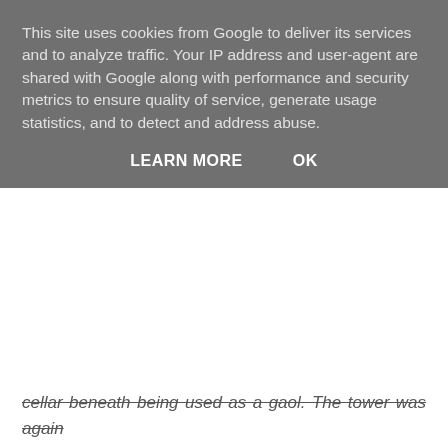This site uses cookies from Google to deliver its services and to analyze traffic. Your IP address and user-agent are shared with Google along with performance and security metrics to ensure quality of service, generate usage statistics, and to detect and address abuse.
LEARN MORE   OK
cellar beneath being used as a gaol. The tower was again used as a prison during the 1770's, and by the end of the 19th century, was being used as an armoury for local militia volunteers. In 1856 the top two storeys were merged into one.
The Cumbrian Castle listing. at 3:20 pm
Share
No comments:
Post a Comment